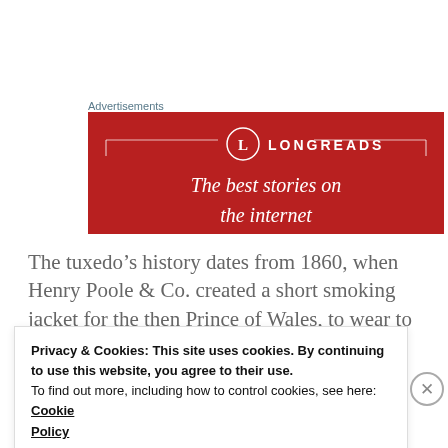Advertisements
[Figure (illustration): Longreads advertisement banner with red background, circle logo with 'L', text 'LONGREADS' and 'The best stories on']
The tuxedo’s history dates from 1860, when Henry Poole & Co. created a short smoking jacket for the then Prince of Wales, to wear to informal dinner parties. In
Privacy & Cookies: This site uses cookies. By continuing to use this website, you agree to their use.
To find out more, including how to control cookies, see here: Cookie Policy
Close and accept